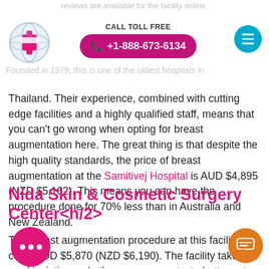reviews are available for the facility online.
[Figure (logo): Samitivej Hospital logo with red cross on blue globe]
CALL TOLL FREE +1-888-673-6134
Founded in 1979, this is one of the oldest hospitals in Thailand. Their experience, combined with cutting edge facilities and a highly qualified staff, means that you can't go wrong when opting for breast augmentation here. The great thing is that despite the high quality standards, the price of breast augmentation at the Samitivej Hospital is AUD $4,895 (NZD $5,162). This means you can have the procedure done for 70% less than in Australia and New Zealand.
Nida Skin & Cosmetic Surgery Center<h/2>
The breast augmentation procedure at this facility costs AUD $5,870 (NZD $6,190). The facility takes care of logistics and other arrangements, to better cater to international patients. At the Nida Skin & Cosmetic